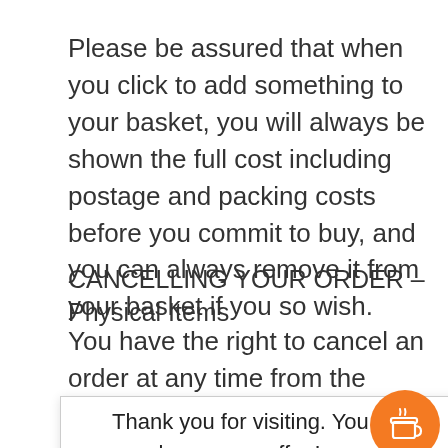Please be assured that when you click to add something to your basket, you will always be shown the full cost including postage and packing costs before you commit to buy, and you can always remove it from your basket if you so wish.
CANCELLING YOUR ORDER – Physical Items
You have the right to cancel an order at any time from the moment you place the order until 14 days from the day you receive your goods.
Thank you for visiting. You can now buy me a coffee!
with me. Once you have got in touch about